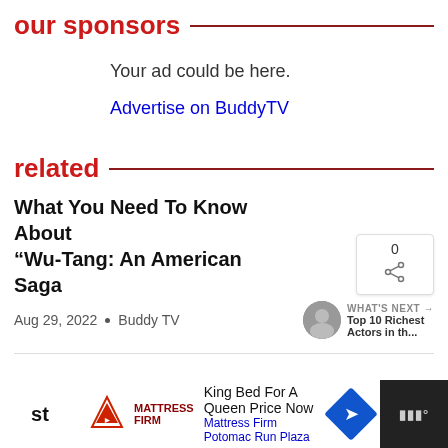our sponsors
Your ad could be here.
Advertise on BuddyTV
related
What You Need To Know About “Wu-Tang: An American Saga
Aug 29, 2022 • Buddy TV
WHAT’S NEXT → Top 10 Richest Actors in th…
King Bed For A Queen Price Now Mattress Firm Potomac Run Plaza